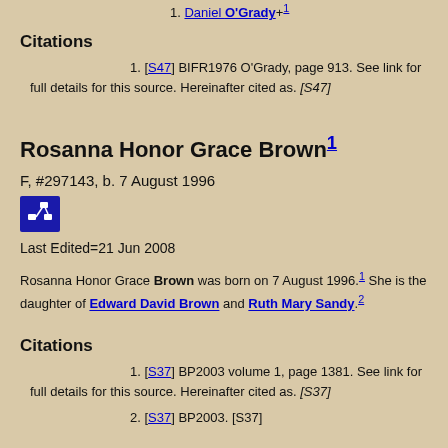1. Daniel O'Grady +¹
Citations
1. [S47] BIFR1976 O'Grady, page 913. See link for full details for this source. Hereinafter cited as. [S47]
Rosanna Honor Grace Brown¹
F, #297143, b. 7 August 1996
[Figure (other): Pedigree/family tree icon button (blue square with branching diagram)]
Last Edited=21 Jun 2008
Rosanna Honor Grace Brown was born on 7 August 1996.¹ She is the daughter of Edward David Brown and Ruth Mary Sandy.²
Citations
1. [S37] BP2003 volume 1, page 1381. See link for full details for this source. Hereinafter cited as. [S37]
2. [S37] BP2003. [S37]